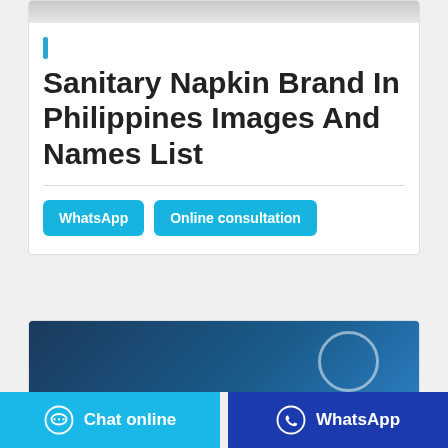[Figure (photo): Top image strip showing a partial photo at the top of the card]
Sanitary Napkin Brand In Philippines Images And Names List
WhatsApp | Online consultation
[Figure (photo): Dark blue image at the bottom card with a circle shape]
Chat online | WhatsApp